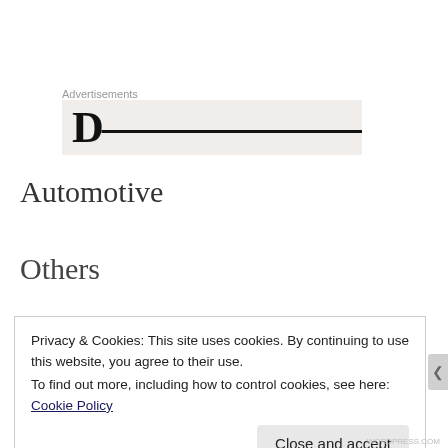Advertisements
[Figure (other): Advertisement banner with large bold text partially visible on a light gray background]
Automotive
Others
Privacy & Cookies: This site uses cookies. By continuing to use this website, you agree to their use.
To find out more, including how to control cookies, see here: Cookie Policy
Close and accept